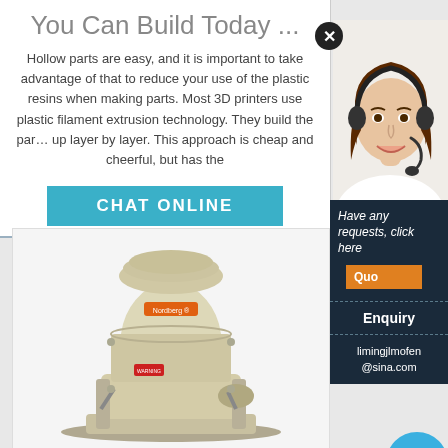You Can Build Today ...
Hollow parts are easy, and it is important to take advantage of that to reduce your use of the plastic resins when making parts. Most 3D printers use plastic filament extrusion technology. They build the par... up layer by layer. This approach is cheap and cheerful, but has the
[Figure (screenshot): Teal/cyan 'CHAT ONLINE' button]
[Figure (photo): Industrial cone crusher machine - Nordberg brand, beige/cream colored heavy equipment]
[Figure (photo): Customer service agent - woman with headset smiling]
Have any requests, click here
Quo
Enquiry
limingjlmofen@sina.com